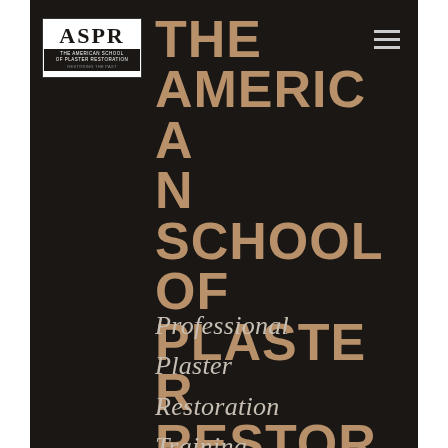[Figure (logo): ASPR logo — The American School of Plaster Restoration, white box with black text]
THE AMERICAN SCHOOL OF PLASTER RESTORATION
Professional

Plaster

Restoration

Training